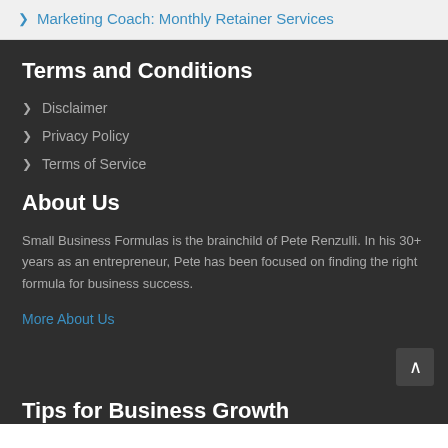Marketing Coach: Monthly Retainer Services
Terms and Conditions
Disclaimer
Privacy Policy
Terms of Service
About Us
Small Business Formulas is the brainchild of Pete Renzulli. In his 30+ years as an entrepreneur, Pete has been focused on finding the right formula for business success.
More About Us
Tips for Business Growth